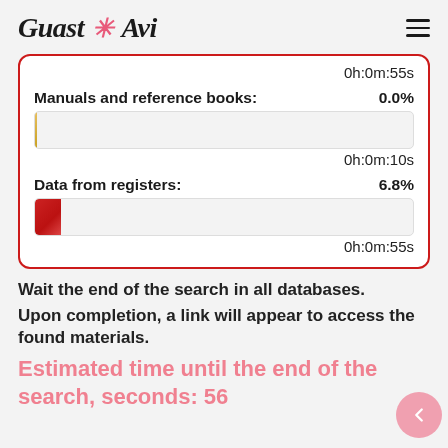Guast Avi
0h:0m:55s
Manuals and reference books: 0.0%
0h:0m:10s
Data from registers: 6.8%
0h:0m:55s
Wait the end of the search in all databases.
Upon completion, a link will appear to access the found materials.
Estimated time until the end of the search, seconds: 56